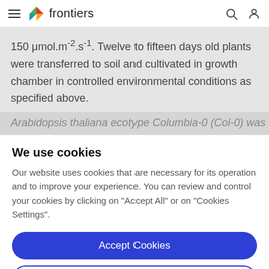frontiers
150 μmol.m⁻².s⁻¹. Twelve to fifteen days old plants were transferred to soil and cultivated in growth chamber in controlled environmental conditions as specified above.
Arabidopsis thaliana ecotype Columbia-0 (Col-0) was
We use cookies
Our website uses cookies that are necessary for its operation and to improve your experience. You can review and control your cookies by clicking on "Accept All" or on "Cookies Settings".
Accept Cookies
Cookies Settings